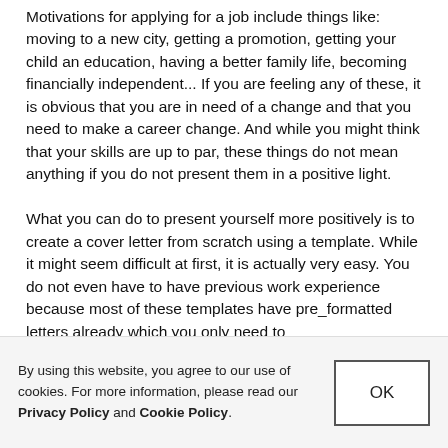Motivations for applying for a job include things like: moving to a new city, getting a promotion, getting your child an education, having a better family life, becoming financially independent... If you are feeling any of these, it is obvious that you are in need of a change and that you need to make a career change. And while you might think that your skills are up to par, these things do not mean anything if you do not present them in a positive light.

What you can do to present yourself more positively is to create a cover letter from scratch using a template. While it might seem difficult at first, it is actually very easy. You do not even have to have previous work experience because most of these templates have pre_formatted letters already which you only need to
By using this website, you agree to our use of cookies. For more information, please read our Privacy Policy and Cookie Policy.